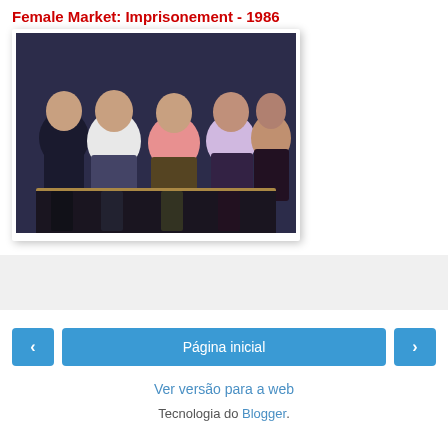Female Market: Imprisonement - 1986
[Figure (photo): Screenshot from the 1986 film showing four women in underwear sitting together in a dark setting]
[Figure (other): Advertisement banner placeholder (gray background)]
‹   Página inicial   ›
Ver versão para a web
Tecnologia do Blogger.